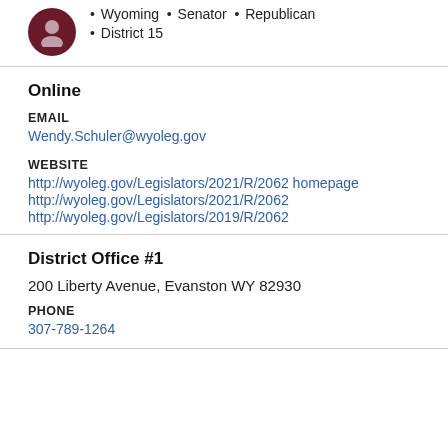Wyoming • Senator • Republican
District 15
Online
EMAIL
Wendy.Schuler@wyoleg.gov
WEBSITE
http://wyoleg.gov/Legislators/2021/R/2062 homepage
http://wyoleg.gov/Legislators/2021/R/2062
http://wyoleg.gov/Legislators/2019/R/2062
District Office #1
200 Liberty Avenue, Evanston WY 82930
PHONE
307-789-1264